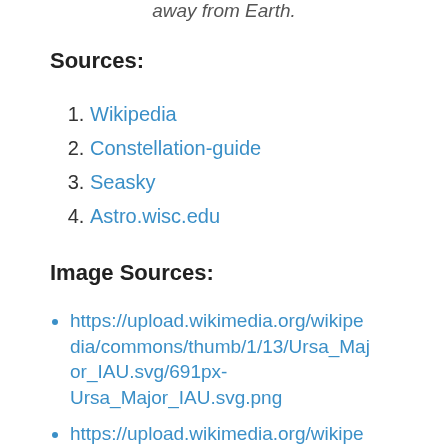away from Earth.
Sources:
Wikipedia
Constellation-guide
Seasky
Astro.wisc.edu
Image Sources:
https://upload.wikimedia.org/wikipedia/commons/thumb/1/13/Ursa_Major_IAU.svg/691px-Ursa_Major_IAU.svg.png
https://upload.wikimedia.org/wikipedia/commons/thumb/2/28/Sidney_Hall_-_Urania%27s_Mirror_-